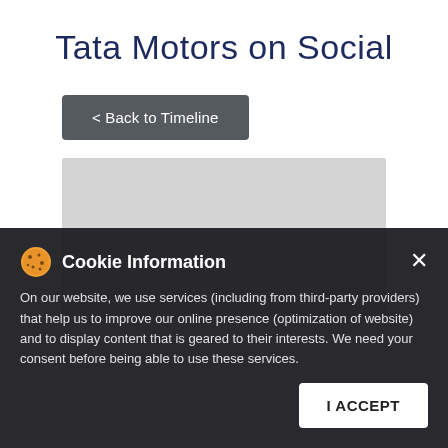Tata Motors on Social
< Back to Timeline
[Figure (other): Gray placeholder content area]
Cookie Information
On our website, we use services (including from third-party providers) that help us to improve our online presence (optimization of website) and to display content that is geared to their interests. We need your consent before being able to use these services.
I ACCEPT